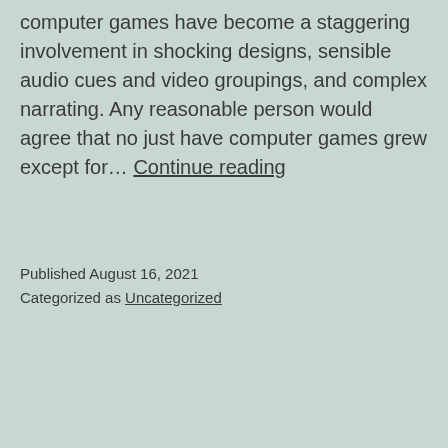computer games have become a staggering involvement in shocking designs, sensible audio cues and video groupings, and complex narrating. Any reasonable person would agree that no just have computer games grew except for… Continue reading
Published August 16, 2021
Categorized as Uncategorized